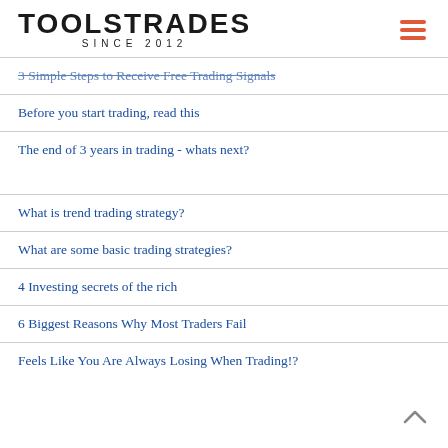TOOLSTRADES SINCE 2012
3 Simple Steps to Receive Free Trading Signals
Before you start trading, read this
The end of 3 years in trading - whats next?
What is trend trading strategy?
What are some basic trading strategies?
4 Investing secrets of the rich
6 Biggest Reasons Why Most Traders Fail
Feels Like You Are Always Losing When Trading!?